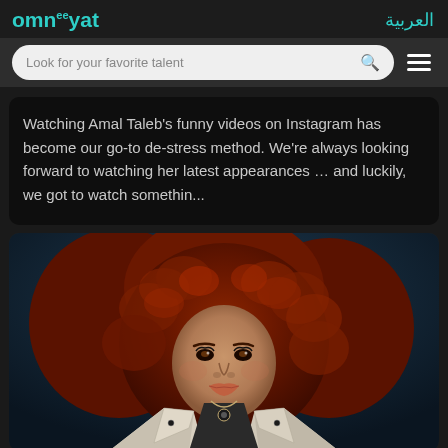omnîyat | العربية
Look for your favorite talent
Watching Amal Taleb’s funny videos on Instagram has become our go-to de-stress method. We’re always looking forward to watching her latest appearances … and luckily, we got to watch somethin...
[Figure (photo): Photo of a woman with red curly hair wearing a white jacket and dark top with a necklace, photographed against a dark blue background.]